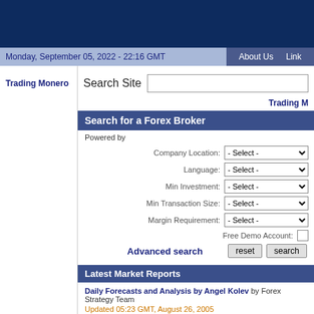Monday, September 05, 2022 - 22:16 GMT | About Us | Link
Trading Monero
Search Site
Trading M
Search for a Forex Broker
Powered by
Company Location: - Select -
Language: - Select -
Min Investment: - Select -
Min Transaction Size: - Select -
Margin Requirement: - Select -
Free Demo Account:
Advanced search
Latest Market Reports
Daily Forecasts and Analysis by Angel Kolev by Forex Strategy Team
Updated 05:23 GMT, August 26, 2005